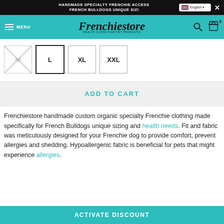HANDMADE SPECIALTY FRENCHIE ACCESSORIES FOR FRENCH BULLDOGS UNIQUE SIZING
[Figure (screenshot): Navigation bar with Frenchiestore logo on teal background with menu, search, and cart icons]
[Figure (screenshot): Size selector boxes showing M (crossed out/unavailable), L (selected/highlighted), XL, XXL]
[Figure (screenshot): Add to Cart button on light gray background with teal text]
Frenchiestore handmade custom organic specialty Frenchie clothing made specifically for French Bulldogs unique sizing and health needs. Fit and fabric was meticulously designed for your Frenchie dog to provide comfort, prevent allergies and shedding. Hypoallergenic fabric is beneficial for pets that might experience allergies.
[Figure (screenshot): Activate Discount button on teal background with white text]